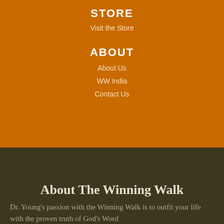STORE
Visit the Store
ABOUT
About Us
WW India
Contact Us
About The Winning Walk
Dr. Young's passion with the Winning Walk is to outfit your life with the proven truth of God's Word